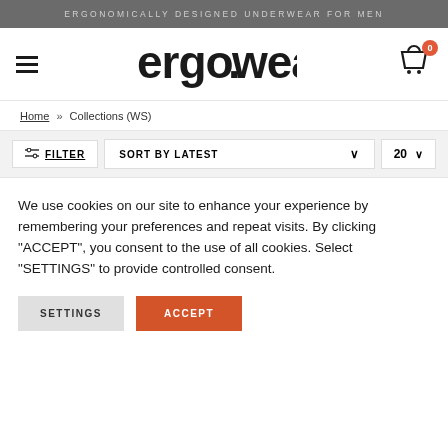ERGONOMICALLY DESIGNED UNDERWEAR FOR MEN
[Figure (logo): ergowear logo in black text with stylized lowercase letters]
Home » Collections (WS)
FILTER  SORT BY LATEST  20
We use cookies on our site to enhance your experience by remembering your preferences and repeat visits. By clicking "ACCEPT", you consent to the use of all cookies. Select "SETTINGS" to provide controlled consent.
SETTINGS  ACCEPT